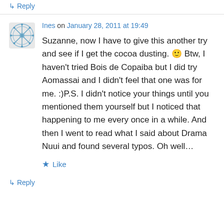↳ Reply
Ines on January 28, 2011 at 19:49
Suzanne, now I have to give this another try and see if I get the cocoa dusting. 🙂 Btw, I haven't tried Bois de Copaiba but I did try Aomassai and I didn't feel that one was for me. :)P.S. I didn't notice your things until you mentioned them yourself but I noticed that happening to me every once in a while. And then I went to read what I said about Drama Nuui and found several typos. Oh well…
★ Like
↳ Reply